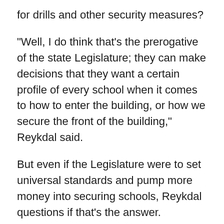for drills and other security measures?
“Well, I do think that’s the prerogative of the state Legislature; they can make decisions that they want a certain profile of every school when it comes to how to enter the building, or how we secure the front of the building,” Reykdal said.
But even if the Legislature were to set universal standards and pump more money into securing schools, Reykdal questions if that’s the answer.
“There is a legitimate debate. I think you can put a lot of money in infrastructure and still find ways for students to bring weapons to school,” Reykdal said.